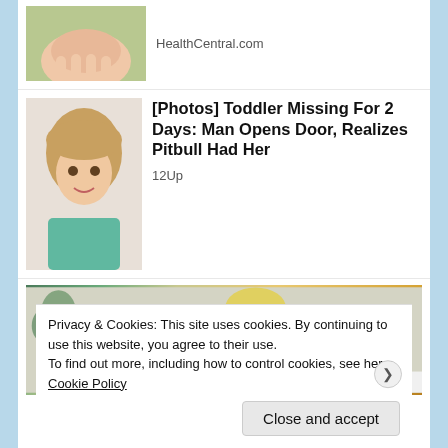[Figure (photo): Partial thumbnail of hand on green background (top cut off)]
HealthCentral.com
[Figure (photo): Toddler girl with blonde hair wearing teal shirt]
[Photos] Toddler Missing For 2 Days: Man Opens Door, Realizes Pitbull Had Her
12Up
[Figure (photo): Blonde woman in yellow sweater looking down, writing]
Privacy & Cookies: This site uses cookies. By continuing to use this website, you agree to their use.
To find out more, including how to control cookies, see here: Cookie Policy
Close and accept